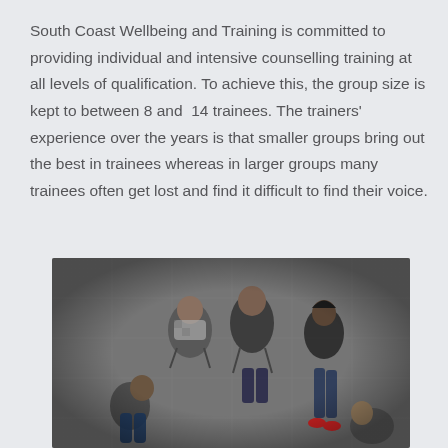South Coast Wellbeing and Training is committed to providing individual and intensive counselling training at all levels of qualification. To achieve this, the group size is kept to between 8 and 14 trainees. The trainers' experience over the years is that smaller groups bring out the best in trainees whereas in larger groups many trainees often get lost and find it difficult to find their voice.
[Figure (photo): Aerial/bird's eye view photograph of a small group of people sitting in a circle on chairs, appearing to be in a counselling or group therapy session on a tiled/carpeted floor.]